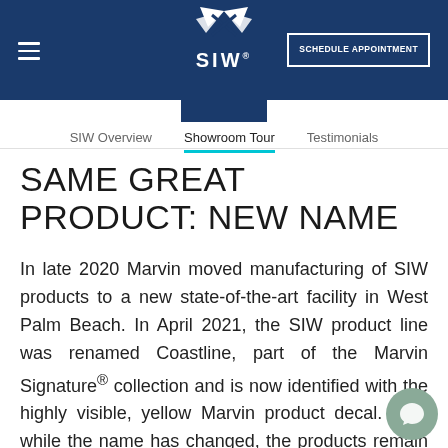SIW — SCHEDULE APPOINTMENT
[Figure (logo): SIW logo with stylized wings above text SIW on a dark blue background header bar]
SIW Overview | Showroom Tour | Testimonials
SAME GREAT PRODUCT: NEW NAME
In late 2020 Marvin moved manufacturing of SIW products to a new state-of-the-art facility in West Palm Beach. In April 2021, the SIW product line was renamed Coastline, part of the Marvin Signature® collection and is now identified with the highly visible, yellow Marvin product decal. And, while the name has changed, the products remain the same end, expertly crafted, impact-resistant and doors of choice for coastal weather.